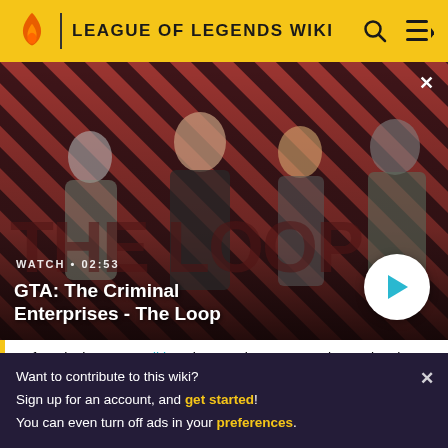LEAGUE OF LEGENDS WIKI
[Figure (screenshot): Video banner showing GTA: The Criminal Enterprises - The Loop promotional image with four characters on a diagonal stripe background. WATCH • 02:53 label and play button visible.]
After playing 3 Expeditions in a week you can no longer buy into any more and Open Play is unlocked for the rest of the week, where the
Want to contribute to this wiki?
Sign up for an account, and get started!
You can even turn off ads in your preferences.